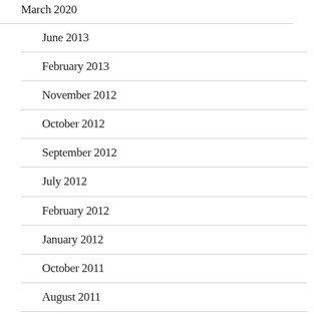March 2020
June 2013
February 2013
November 2012
October 2012
September 2012
July 2012
February 2012
January 2012
October 2011
August 2011